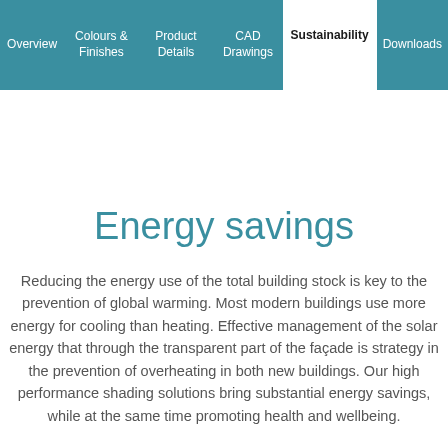Overview | Colours & Finishes | Product Details | CAD Drawings | Sustainability | Downloads
Energy savings
Reducing the energy use of the total building stock is key to the prevention of global warming. Most modern buildings use more energy for cooling than heating. Effective management of the solar energy that enters through the transparent part of the façade is key strategy in the prevention of overheating in both new buildings. Our high performance shading solutions bring substantial energy savings, while at the same time promoting health and wellbeing.